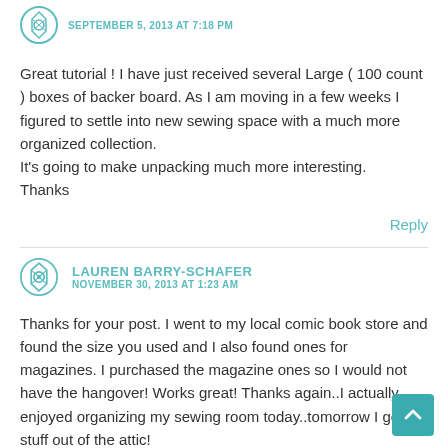SEPTEMBER 5, 2013 AT 7:18 PM
Great tutorial ! I have just received several Large ( 100 count ) boxes of backer board. As I am moving in a few weeks I figured to settle into new sewing space with a much more organized collection.
It's going to make unpacking much more interesting.
Thanks
Reply
LAUREN BARRY-SCHAFER
NOVEMBER 30, 2013 AT 1:23 AM
Thanks for your post. I went to my local comic book store and found the size you used and I also found ones for magazines. I purchased the magazine ones so I would not have the hangover! Works great! Thanks again..I actually enjoyed organizing my sewing room today..tomorrow I get stuff out of the attic!